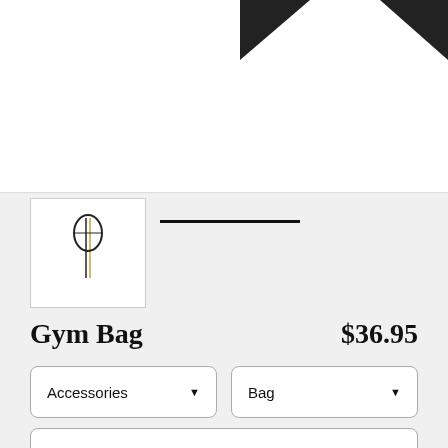[Figure (photo): Product image of a white drawstring gym bag with black triangular arrow designs at top corners]
[Figure (thumbnail): Small thumbnail image showing the Ninja Hub logo/branding]
Gym Bag
$36.95
Accessories (dropdown)
Bag (dropdown)
Drawstring Bag (dropdown)
Made out of polyester and reinforced with a black liner, this rope drawstring bag is lightweight yet sturdy. Sized at 19" x 15" and complete with an inner